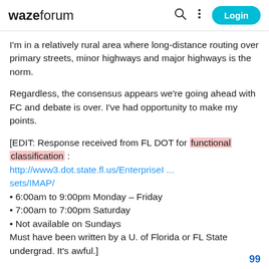waze forum  Login
I'm in a relatively rural area where long-distance routing over primary streets, minor highways and major highways is the norm.
Regardless, the consensus appears we're going ahead with FC and debate is over. I've had opportunity to make my points.
[EDIT: Response received from FL DOT for functional classification: http://www3.dot.state.fl.us/EnterpriseI...sets/IMAP/
• 6:00am to 9:00pm Monday – Friday
• 7:00am to 7:00pm Saturday
• Not available on Sundays
Must have been written by a U. of Florida or FL State undergrad. It's awful.]
99